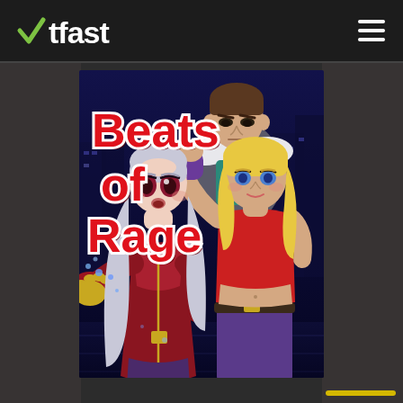WTFast navigation bar with logo and hamburger menu
[Figure (illustration): Beats of Rage game cover art showing three anime-style fighting game characters against a dark blue city night background. A dark-haired man in grey jacket at top center, a blonde woman in red top and purple skirt at right, and a silver-haired woman in red outfit at lower left. Bold red text reads 'Beats of Rage'. The cover is displayed in the center of a dark-themed webpage with the WTFast logo and navigation bar at the top.]